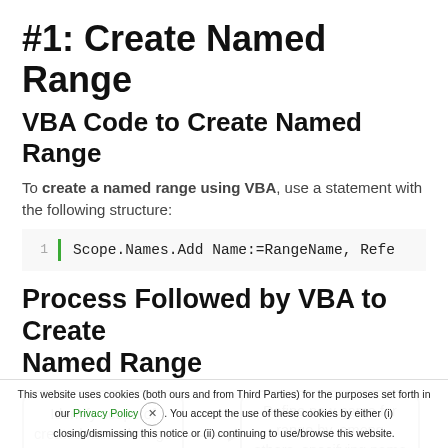#1: Create Named Range
VBA Code to Create Named Range
To create a named range using VBA, use a statement with the following structure:
Process Followed by VBA to Create Named Range
[Figure (flowchart): Flowchart showing two boxes connected by an arrow: 'Identify scope of created named range (workbook or...' → 'Define new name for range by, among others, specifying name and cell...']
This website uses cookies (both ours and from Third Parties) for the purposes set forth in our Privacy Policy. You accept the use of these cookies by either (i) closing/dismissing this notice or (ii) continuing to use/browse this website.